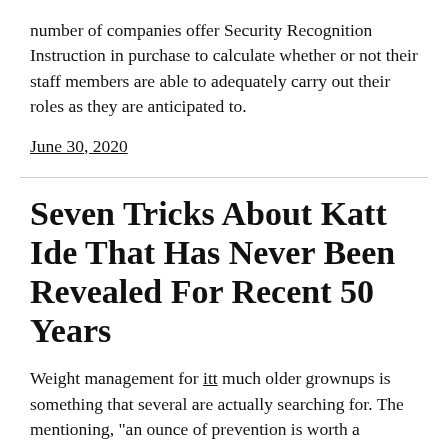number of companies offer Security Recognition Instruction in purchase to calculate whether or not their staff members are able to adequately carry out their roles as they are anticipated to.
June 30, 2020
Seven Tricks About Katt Ide That Has Never Been Revealed For Recent 50 Years
Weight management for itt much older grownups is something that several are actually searching for. The mentioning, "an ounce of prevention is worth a